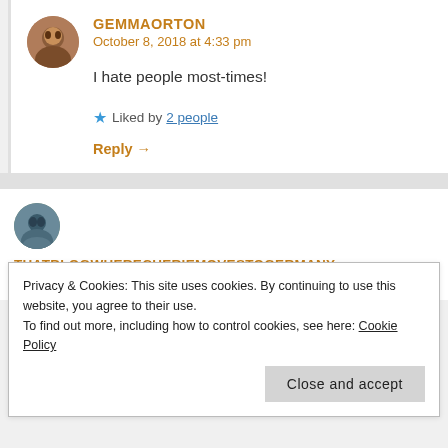[Figure (photo): Circular avatar photo of user GEMMAORTON]
GEMMAORTON
October 8, 2018 at 4:33 pm
I hate people most-times!
★ Liked by 2 people
Reply →
[Figure (photo): Circular avatar photo of user THATBLOGWHERECHERIEMOVESTOGERMANY]
THATBLOGWHERECHERIEMOVESTOGERMANY
Privacy & Cookies: This site uses cookies. By continuing to use this website, you agree to their use.
To find out more, including how to control cookies, see here: Cookie Policy
Close and accept